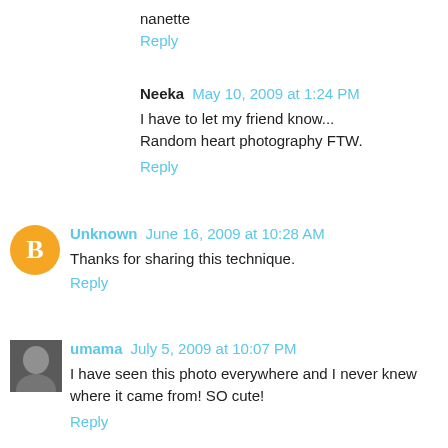nanette
Reply
Neeka  May 10, 2009 at 1:24 PM
I have to let my friend know...
Random heart photography FTW.
Reply
[Figure (illustration): Orange circle avatar with white blogger 'B' icon]
Unknown  June 16, 2009 at 10:28 AM
Thanks for sharing this technique.
Reply
[Figure (photo): Small grayscale profile photo of a person]
umama  July 5, 2009 at 10:07 PM
I have seen this photo everywhere and I never knew where it came from! SO cute!
Reply